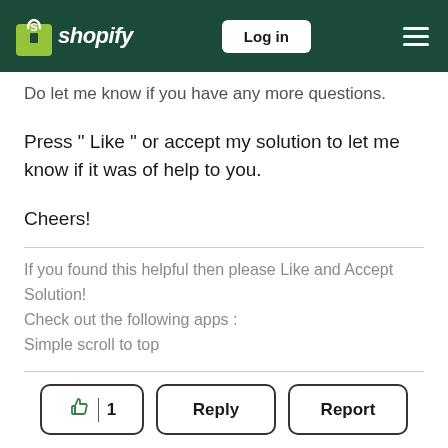shopify | Log in
Do let me know if you have any more questions.
Press " Like " or accept my solution to let me know if it was of help to you.
Cheers!
If you found this helpful then please Like and Accept Solution!
Check out the following apps :
Simple scroll to top